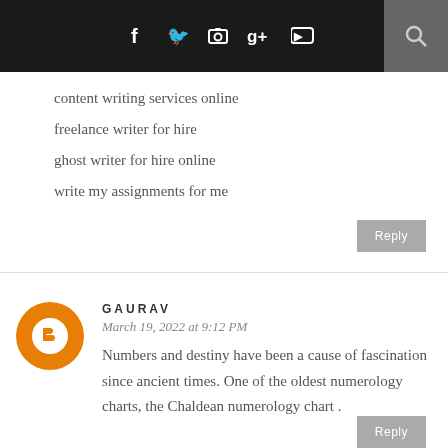f ✓ ☎ g+ yt [search icon]
content writing services online
freelance writer for hire
ghost writer for hire online
write my assignments for me
Reply
GAURAV
March 19, 2022 at 9:12 PM
Numbers and destiny have been a cause of fascination since ancient times. One of the oldest numerology charts, the Chaldean numerology chart .